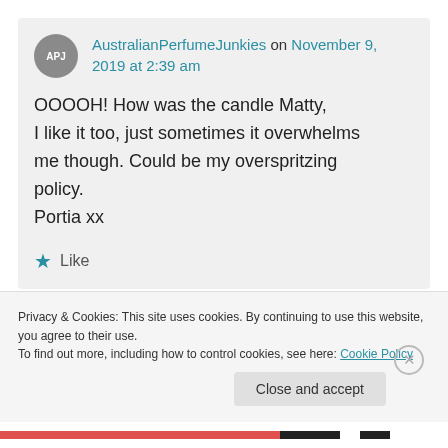AustralianPerfumeJunkies on November 9, 2019 at 2:39 am

OOOOH! How was the candle Matty, I like it too, just sometimes it overwhelms me though. Could be my overspritzing policy.
Portia xx

★ Like
Privacy & Cookies: This site uses cookies. By continuing to use this website, you agree to their use.
To find out more, including how to control cookies, see here: Cookie Policy

Close and accept